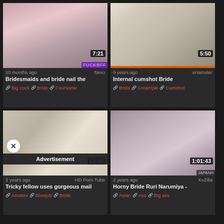[Figure (screenshot): Video thumbnail grid - top left: pink/white clothing on bed, duration 7:21, source FUCKBFF, 10 months ago, Sexu]
10 months ago
Sexu
Bridesmaids and bride nail the
Big cock  Bride  Foursome
[Figure (screenshot): Video thumbnail grid - top right: white bridal outfit, duration 5:50, source xHamster, 9 years ago]
9 years ago
xHamster
Internal cumshot Bride
Bride  Creampie  Cumshot
[Figure (screenshot): Video thumbnail grid - bottom left: two people in room, duration 12:00, HD Porn Tube, 2 years ago, Advertisement overlay]
2 years ago
HD Porn Tube
Tricky fellow uses gorgeous mail
Amateur  Blowjob  Bride
[Figure (screenshot): Video thumbnail grid - bottom right: person on bed, duration 1:01:43, XoZilla, 2 years ago, JAPANH watermark]
2 years ago
XoZilla
Horny Bride Ruri Narumiya -
Asian  Ass  Big ass